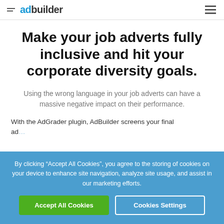adbuilder
Make your job adverts fully inclusive and hit your corporate diversity goals.
Using the wrong language in your job adverts can have a massive negative impact on their performance.
With the AdGrader plugin, AdBuilder screens your final ad...
By clicking “Accept All Cookies”, you agree to the storing of cookies on your device to enhance site navigation, analyze site usage, and assist in our marketing efforts.
Accept All Cookies | Cookies Settings